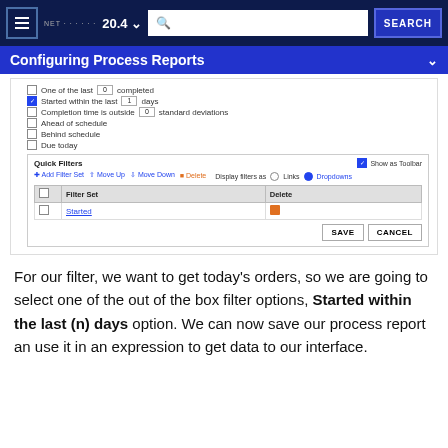≡  NetSuite  20.4 ▾  [search box]  SEARCH
Configuring Process Reports
[Figure (screenshot): Screenshot of a process report filter configuration UI showing checkboxes for 'One of the last [0] completed', 'Started within the last [1] days' (checked), 'Completion time is outside [0] standard deviations', 'Ahead of schedule', 'Behind schedule', 'Due today'. Below is a Quick Filters section with 'Show as Toolbar' checkbox, action links (Add Filter Set, Move Up, Move Down, Delete), Display filters as Links/Dropdowns radio buttons, a table with columns Filter Set and Delete, and a row for 'Started'. At bottom right are SAVE and CANCEL buttons.]
For our filter, we want to get today's orders, so we are going to select one of the out of the box filter options, Started within the last (n) days option. We can now save our process report an use it in an expression to get data to our interface.